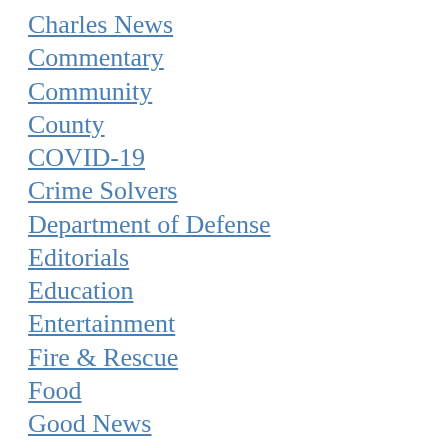Charles News
Commentary
Community
County
COVID-19
Crime Solvers
Department of Defense
Editorials
Education
Entertainment
Fire & Rescue
Food
Good News
High School
history